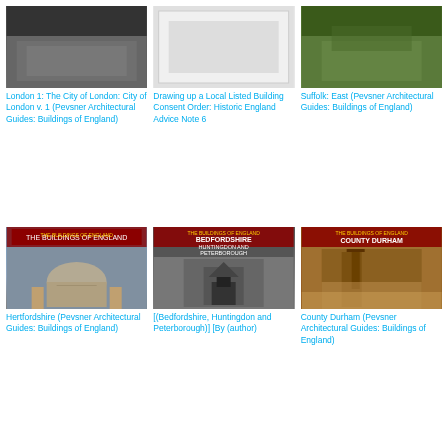[Figure (photo): Book cover for London 1: The City of London]
London 1: The City of London: City of London v. 1 (Pevsner Architectural Guides: Buildings of England)
[Figure (photo): Book cover for Drawing up a Local Listed Building Consent Order]
Drawing up a Local Listed Building Consent Order: Historic England Advice Note 6
[Figure (photo): Book cover for Suffolk: East (Pevsner Architectural Guides)]
Suffolk: East (Pevsner Architectural Guides: Buildings of England)
[Figure (photo): Book cover for Hertfordshire (Pevsner Architectural Guides)]
Hertfordshire (Pevsner Architectural Guides: Buildings of England)
[Figure (photo): Book cover for Bedfordshire, Huntingdon and Peterborough (Pevsner Architectural Guides)]
[(Bedfordshire, Huntingdon and Peterborough)] [By (author) ...
[Figure (photo): Book cover for County Durham (Pevsner Architectural Guides)]
County Durham (Pevsner Architectural Guides: Buildings of England)